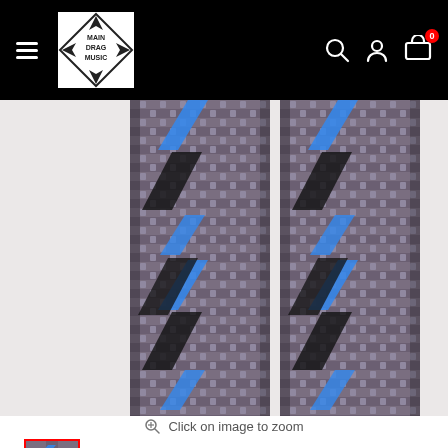[Figure (screenshot): Main Drag Music website header navigation bar with hamburger menu, Main Drag Music logo (diamond shape with arrows), search icon, account icon, and cart icon with badge showing 0]
[Figure (photo): Close-up photo of two braided/woven guitar cable cords side by side, showing dark grey/purple braided texture with blue and black accent threads running diagonally along the length]
Click on image to zoom
[Figure (photo): Small thumbnail preview of the cable image, currently selected (indicated by red border)]